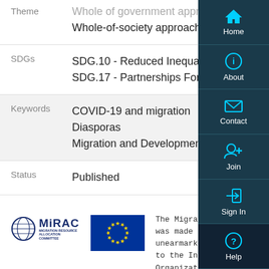| Field | Value |
| --- | --- |
| Theme | Whole-of-government approach
Whole-of-society approach |
| SDGs | SDG.10 - Reduced Inequalities
SDG.17 - Partnerships For The Goals |
| Keywords | COVID-19 and migration
Diasporas
Migration and Development |
| Status | Published |
[Figure (logo): MiRAC - Migration Resource Allocation Committee logo and EU flag]
The Migration Network was made possible through unearmarked funding given to the International Organization for Migration (IOM) and internally allocated through the Migration Resource Allocation Committee (MiRAC). The...